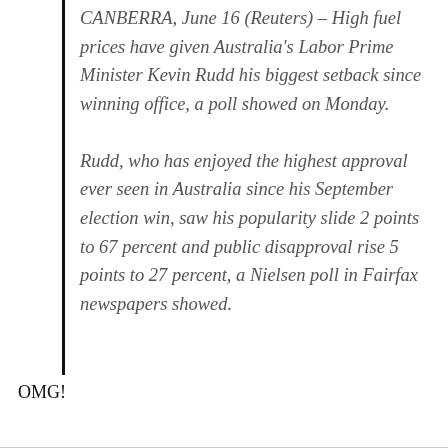CANBERRA, June 16 (Reuters) – High fuel prices have given Australia's Labor Prime Minister Kevin Rudd his biggest setback since winning office, a poll showed on Monday.
Rudd, who has enjoyed the highest approval ever seen in Australia since his September election win, saw his popularity slide 2 points to 67 percent and public disapproval rise 5 points to 27 percent, a Nielsen poll in Fairfax newspapers showed.
OMG!